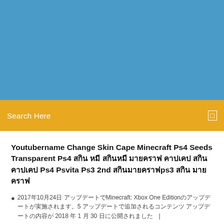[Figure (other): Blue banner/header background area]
Search Here
Youtubername Change Skin Cape Minecraft Ps4 Seeds Transparent Ps4 สกิน หมี สกินหมี มายคราฟ คาปเคป สกิน คาปเคป Ps4 Psvita Ps3 2nd สกินมายคราฟps3 สกิน มายคราฟ
2017年10月24日 アップデートでMinecraft: Xbox One Editionのアップデートが実施されます。5 アップデートで追加されるコンテンツ アップデートの内容が 2018 年 1 月 30 日に公開されました　|
3 Comments